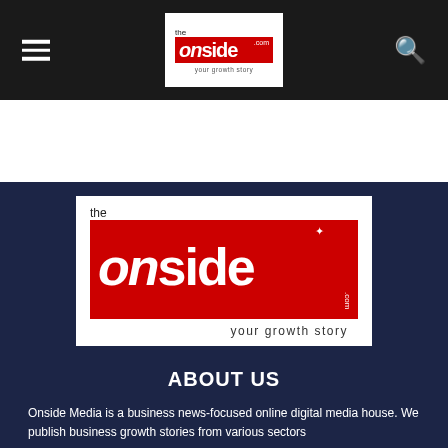[Figure (logo): The Onside.com navigation logo in top bar - white box with red block containing stylized 'onside' text and tagline 'your growth story']
[Figure (logo): Large The Onside.com logo on dark navy background - white box with red block, large italic onside text, maple leaf icon, .com label, tagline 'your growth story']
ABOUT US
Onside Media is a business news-focused online digital media house. We publish business growth stories from various sectors